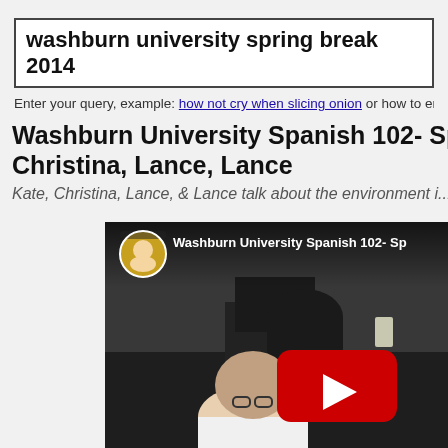washburn university spring break 2014
Enter your query, example: how not cry when slicing onion or how to ente...
Washburn University Spanish 102- Spri... Christina, Lance, Lance
Kate, Christina, Lance, & Lance talk about the environment i...
[Figure (screenshot): YouTube video thumbnail showing Washburn University Spanish 102 video with channel avatar, title overlay, a dark classroom scene with people, and a YouTube play button.]